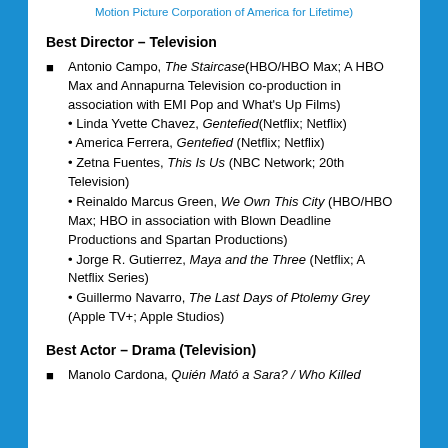Motion Picture Corporation of America for Lifetime)
Best Director – Television
Antonio Campo, The Staircase (HBO/HBO Max; A HBO Max and Annapurna Television co-production in association with EMI Pop and What's Up Films)
• Linda Yvette Chavez, Gentefied (Netflix; Netflix)
• America Ferrera, Gentefied (Netflix; Netflix)
• Zetna Fuentes, This Is Us (NBC Network; 20th Television)
• Reinaldo Marcus Green, We Own This City (HBO/HBO Max; HBO in association with Blown Deadline Productions and Spartan Productions)
• Jorge R. Gutierrez, Maya and the Three (Netflix; A Netflix Series)
• Guillermo Navarro, The Last Days of Ptolemy Grey (Apple TV+; Apple Studios)
Best Actor – Drama (Television)
Manolo Cardona, Quién Mató a Sara? / Who Killed